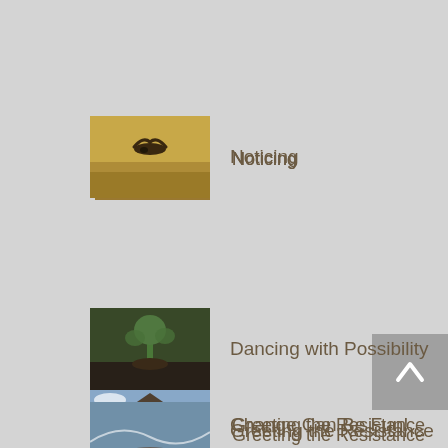Noticing
Greeting the Resistance
Dancing with Possibility
Change Can Be Fun!
[Figure (illustration): Scroll-to-top button with upward chevron arrow on grey background]